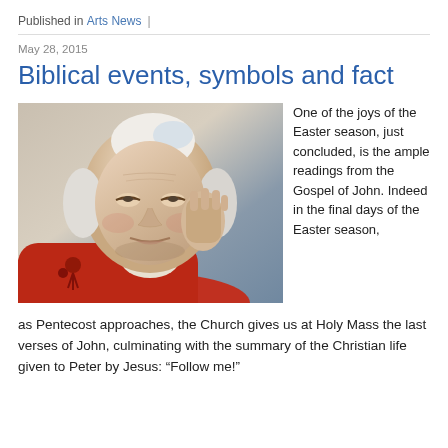Published in Arts News |
May 28, 2015
Biblical events, symbols and fact
[Figure (photo): Close-up portrait of an elderly man in papal vestments including a white zucchetto and red cape, hand raised near his face, smiling gently.]
One of the joys of the Easter season, just concluded, is the ample readings from the Gospel of John. Indeed in the final days of the Easter season, as Pentecost approaches, the Church gives us at Holy Mass the last verses of John, culminating with the summary of the Christian life given to Peter by Jesus: “Follow me!”